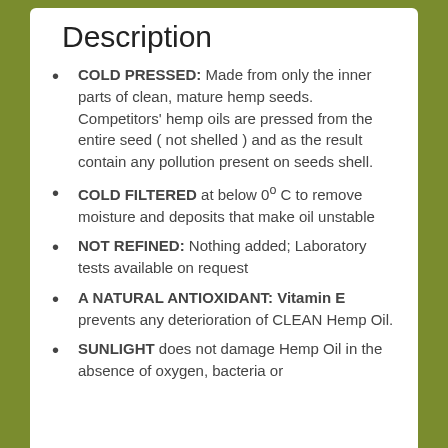Description
COLD PRESSED: Made from only the inner parts of clean, mature hemp seeds. Competitors' hemp oils are pressed from the entire seed ( not shelled ) and as the result contain any pollution present on seeds shell.
COLD FILTERED at below 0° C to remove moisture and deposits that make oil unstable
NOT REFINED: Nothing added; Laboratory tests available on request
A NATURAL ANTIOXIDANT: Vitamin E prevents any deterioration of CLEAN Hemp Oil.
SUNLIGHT does not damage Hemp Oil in the absence of oxygen, bacteria or